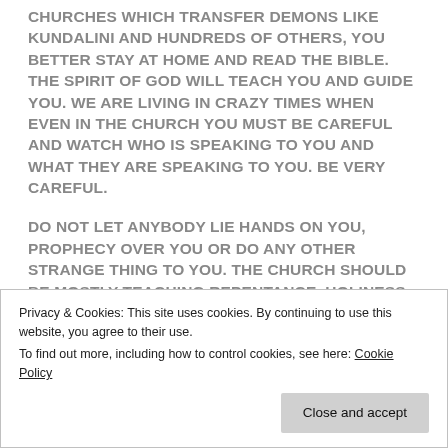CHURCHES WHICH TRANSFER DEMONS LIKE KUNDALINI AND HUNDREDS OF OTHERS, YOU BETTER STAY AT HOME AND READ THE BIBLE. THE SPIRIT OF GOD WILL TEACH YOU AND GUIDE YOU. WE ARE LIVING IN CRAZY TIMES WHEN EVEN IN THE CHURCH YOU MUST BE CAREFUL AND WATCH WHO IS SPEAKING TO YOU AND WHAT THEY ARE SPEAKING TO YOU. BE VERY CAREFUL.
DO NOT LET ANYBODY LIE HANDS ON YOU, PROPHECY OVER YOU OR DO ANY OTHER STRANGE THING TO YOU. THE CHURCH SHOULD BE MOSTLY TEACHING REPENTANCE, HOLINESS, SALVATION, HUMILITY, THE CROSS OF JESUS, HELPING THE WEAK, WORKING FOR THE LORD, FEEDING THE HUNGRY ETC. IF YOU ARE IN DOUBT, ALWAYS LOOK AT JESUS
Privacy & Cookies: This site uses cookies. By continuing to use this website, you agree to their use.
To find out more, including how to control cookies, see here: Cookie Policy